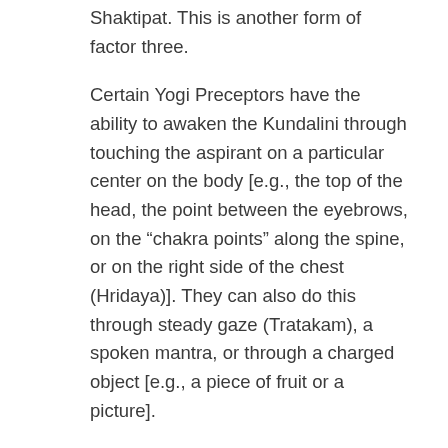Shaktipat. This is another form of factor three.
Certain Yogi Preceptors have the ability to awaken the Kundalini through touching the aspirant on a particular center on the body [e.g., the top of the head, the point between the eyebrows, on the “chakra points” along the spine, or on the right side of the chest (Hridaya)]. They can also do this through steady gaze (Tratakam), a spoken mantra, or through a charged object [e.g., a piece of fruit or a picture].
In this type, aspirants can sometimes